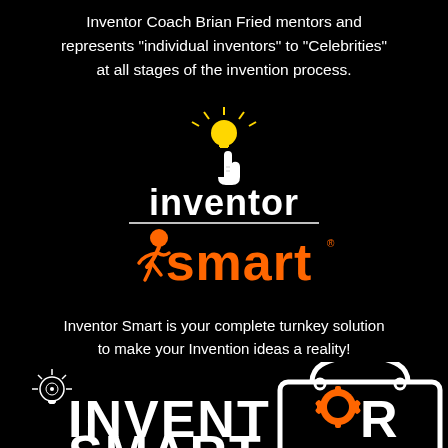Inventor Coach Brian Fried mentors and represents “individual inventors” to “Celebrities” at all stages of the invention process.
[Figure (logo): Inventor Smart logo featuring a white 'inventor' text with a hand pointing to a lightbulb icon, and 'smart' in orange with a figure running. A horizontal white line separates the two words.]
Inventor Smart is your complete turnkey solution to make your Invention ideas a reality!
[Figure (logo): Inventor Smart secondary logo showing a light bulb icon and large bold white 'INVENTOR SMART' text with an orange gear replacing the 'O', overlaid on a shopping bag outline.]